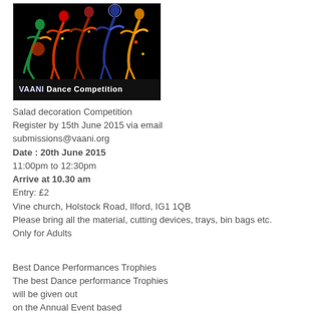[Figure (illustration): Black background image with colorful illustrated dancers in traditional attire, text reads 'VAANI Dance Competition' at the bottom]
Salad decoration Competition
Register by 15th June 2015 via email
submissions@vaani.org
Date : 20th June 2015
11:00pm to 12:30pm
Arrive at 10.30 am
Entry: £2
Vine church, Holstock Road, Ilford, IG1 1QB
Please bring all the material, cutting devices, trays, bin bags etc.
Only for Adults

Best Dance Performances Trophies
The best Dance performance Trophies
will be given out
on the Annual Event based